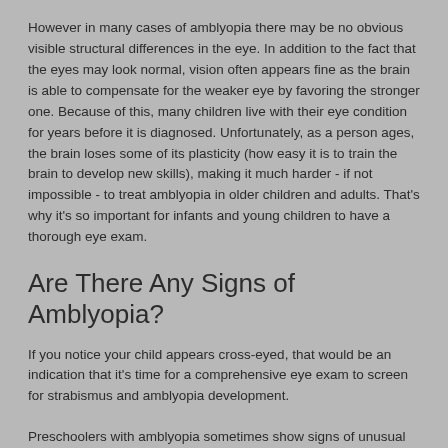However in many cases of amblyopia there may be no obvious visible structural differences in the eye. In addition to the fact that the eyes may look normal, vision often appears fine as the brain is able to compensate for the weaker eye by favoring the stronger one. Because of this, many children live with their eye condition for years before it is diagnosed. Unfortunately, as a person ages, the brain loses some of its plasticity (how easy it is to train the brain to develop new skills), making it much harder - if not impossible - to treat amblyopia in older children and adults. That's why it's so important for infants and young children to have a thorough eye exam.
Are There Any Signs of Amblyopia?
If you notice your child appears cross-eyed, that would be an indication that it's time for a comprehensive eye exam to screen for strabismus and amblyopia development.
Preschoolers with amblyopia sometimes show signs of unusual posture when playing, such as head tilting, clumsiness or viewing things abnormally close.